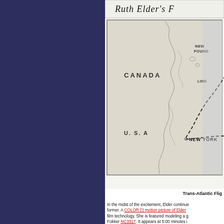[Figure (map): Partial map showing Ruth Elder's trans-Atlantic flight route. Shows eastern North America including Canada, U.S.A., New York, Newfoundland, with dashed route lines labeled LIND and another route departing from New York across the Atlantic. Title at top reads 'Ruth Elder's F[light]'.]
Trans-Atlantic Flig[ht map]
In the midst of the excitement, Elder continue[d to pursue a career as a per]former. A COLOR (!) motion picture of Elder [was made using early Technicolor] film technology. She is featured modeling a g[own...] Fokker NC3317. It appears at 5:00 minutes i[n...]